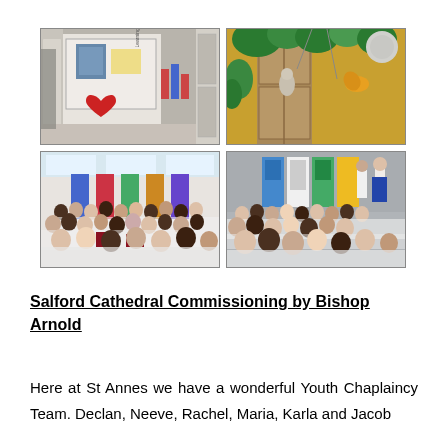[Figure (photo): Top-left photo: school hallway bulletin board with red heart display and posters]
[Figure (photo): Top-right photo: colorful decorative display with greenery, gold and various craft items]
[Figure (photo): Bottom-left photo: large group of students seated facing front of school hall with banners]
[Figure (photo): Bottom-right photo: large group of students seated at assembly, presenters at front]
Salford Cathedral Commissioning by Bishop Arnold
Here at St Annes we have a wonderful Youth Chaplaincy Team. Declan, Neeve, Rachel, Maria, Karla and Jacob